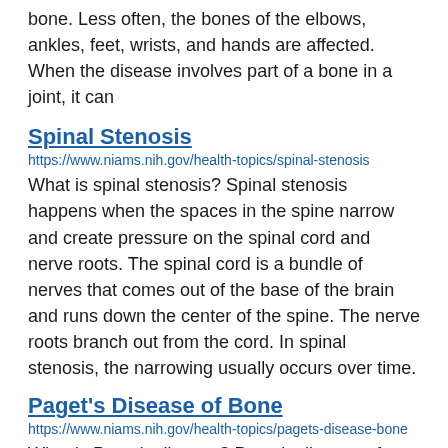bone. Less often, the bones of the elbows, ankles, feet, wrists, and hands are affected. When the disease involves part of a bone in a joint, it can
Spinal Stenosis
https://www.niams.nih.gov/health-topics/spinal-stenosis
What is spinal stenosis? Spinal stenosis happens when the spaces in the spine narrow and create pressure on the spinal cord and nerve roots. The spinal cord is a bundle of nerves that comes out of the base of the brain and runs down the center of the spine. The nerve roots branch out from the cord. In spinal stenosis, the narrowing usually occurs over time.
Paget's Disease of Bone
https://www.niams.nih.gov/health-topics/pagets-disease-bone
What is Paget's disease? Paget's disease of bone is a chronic (long-lasting) disorder that causes bones to grow larger and become weaker than normal. Usually only one or a few bones have the disease. Many people with Paget's disease do not have symptoms. However, the bone changes can cause: Bone pain. Misshapen bones. Broken bones (fractures). Problems in the joints near the bones with the disease. With treatment, many people can: Manage